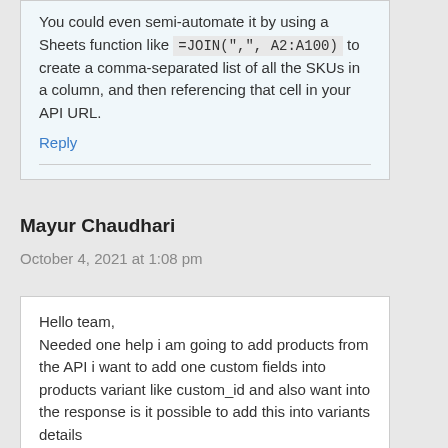You could even semi-automate it by using a Sheets function like =JOIN(",", A2:A100) to create a comma-separated list of all the SKUs in a column, and then referencing that cell in your API URL.
Reply
Mayur Chaudhari
October 4, 2021 at 1:08 pm
Hello team,
Needed one help i am going to add products from the API i want to add one custom fields into products variant like custom_id and also want into the response is it possible to add this into variants details
Reply